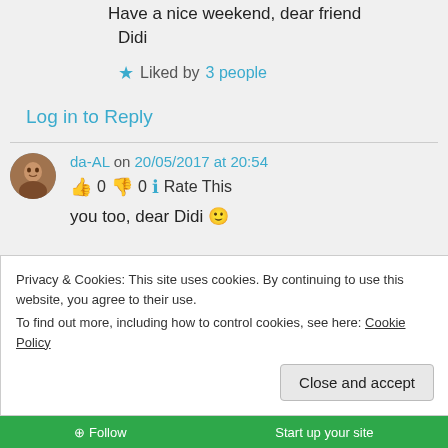Have a nice weekend, dear friend
Didi
★ Liked by 3 people
Log in to Reply
da-AL on 20/05/2017 at 20:54
👍 0 👎 0 ℹ Rate This
you too, dear Didi 🙂
Privacy & Cookies: This site uses cookies. By continuing to use this website, you agree to their use. To find out more, including how to control cookies, see here: Cookie Policy
Close and accept